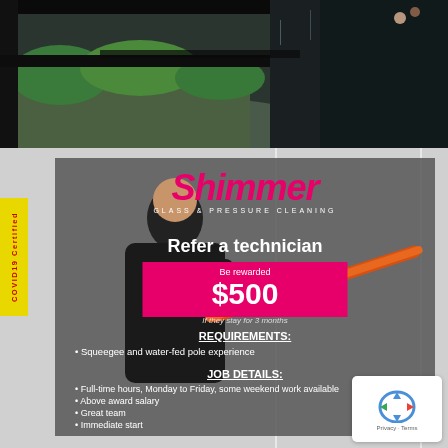[Figure (photo): Window cleaning photo showing a squeegee against a glass window with a view of rocky cliff face and greenery below, taken from a high-rise building]
[Figure (infographic): Shimmer Glass & Pressure Cleaning job advertisement flyer on gray background. Shows 'Refer a technician - Be rewarded $500 if they stay for 3 months'. Requirements: Squeegee and water-fed pole experience. Job Details: Full-time hours Monday to Friday some weekend work available, Above award salary, Great team, Immediate start. COVID19 Certified sticker on left side. reCAPTCHA badge in bottom right corner.]